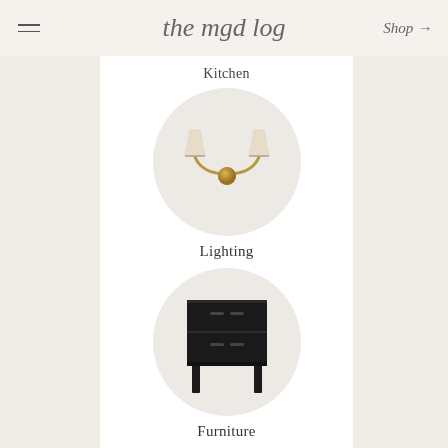the mgd log | Shop →
Kitchen
[Figure (illustration): Wall sconce with two lamp shades and brass center ball, displayed in a circular beige frame]
Lighting
[Figure (illustration): Dark black wooden nightstand/dresser with two drawers and four legs, displayed in a circular beige frame]
Furniture